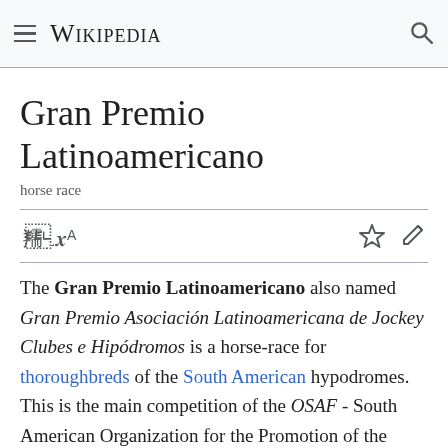Wikipedia
Gran Premio Latinoamericano
horse race
The Gran Premio Latinoamericano also named Gran Premio Asociación Latinoamericana de Jockey Clubes e Hipódromos is a horse-race for thoroughbreds of the South American hypodromes. This is the main competition of the OSAF - South American Organization for the Promotion of the Thoruoughbred. At present, OSAF is made up of the most important South American Jockey Clubs, Horseracing Institutions, Breeders' Associations, and Stud Books. Panama in 2009 and Mexico in 2011 was admitted to the Asociación Latinoamericana de Jockey